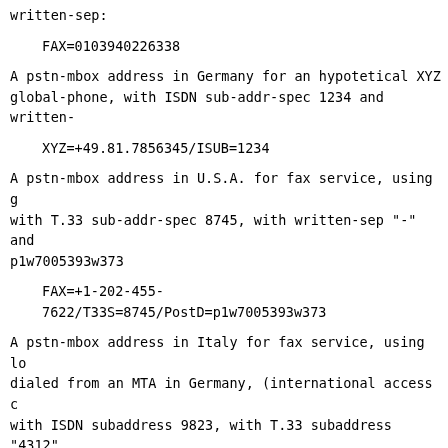written-sep:
FAX=0103940226338
A pstn-mbox address in Germany for an hypotetical XYZ global-phone, with ISDN sub-addr-spec 1234 and written-sep:
XYZ=+49.81.7856345/ISUB=1234
A pstn-mbox address in U.S.A. for fax service, using g with T.33 sub-addr-spec 8745, with written-sep "-" and p1w7005393w373
FAX=+1-202-455-7622/T33S=8745/PostD=p1w7005393w373
A pstn-mbox address in Italy for fax service, using lo dialed from an MTA in Germany, (international access c with ISDN subaddress 9823, with T.33 subaddress "4312" pause or written-sep:
FAX=003940226338/Isub=9823/T33S=4312
The same pstn-mbox address in Italy, using local-phone an MTA in Italy (long distance call), with long distan with exit-code "9", T.33 subaddress "4312", pause "p" ".":
FAX=9p040p22.63.38/t33s=4312
A pstn-mbox address in North America for hypotetical s